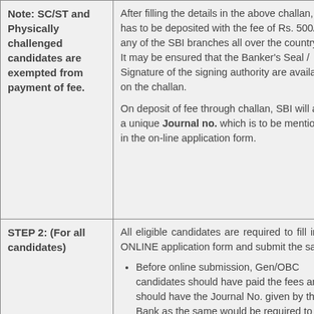| Note: SC/ST and Physically challenged candidates are exempted from payment of fee. | After filling the details in the above challan, it has to be deposited with the fee of Rs. 500/- at any of the SBI branches all over the country.
It may be ensured that the Banker's Seal / Signature of the signing authority are available on the challan.

On deposit of fee through challan, SBI will allot a unique Journal no. which is to be mentioned in the on-line application form. |
| STEP 2: (For all candidates) | All eligible candidates are required to fill in the ONLINE application form and submit the same.

• Before online submission, Gen/OBC candidates should have paid the fees and should have the Journal No. given by the Bank as the same would be required to be filled in. |